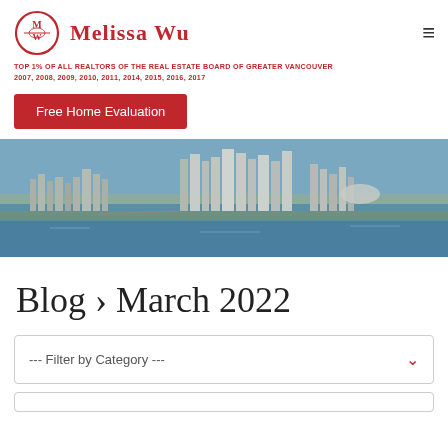Melissa Wu — Top 1% of all Realtors of the Real Estate Board of Greater Vancouver 2007, 2008, 2009, 2010, 2011, 2014, 2015, 2016, 2017
Free Home Evaluation
[Figure (photo): Aerial panoramic photo of Vancouver city skyline and waterfront]
Blog › March 2022
--- Filter by Category ---